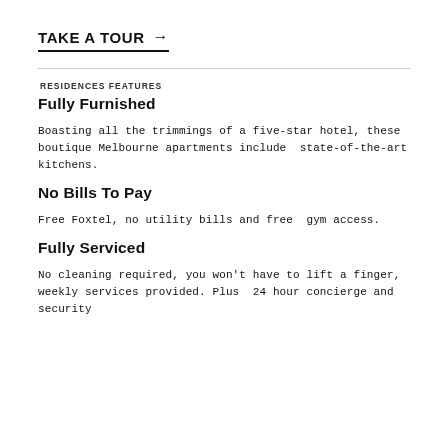TAKE A TOUR →
RESIDENCES FEATURES
Fully Furnished
Boasting all the trimmings of a five-star hotel, these boutique Melbourne apartments include  state-of-the-art kitchens.
No Bills To Pay
Free Foxtel, no utility bills and free  gym access.
Fully Serviced
No cleaning required, you won't have to lift a finger,  weekly services provided. Plus  24 hour concierge and security